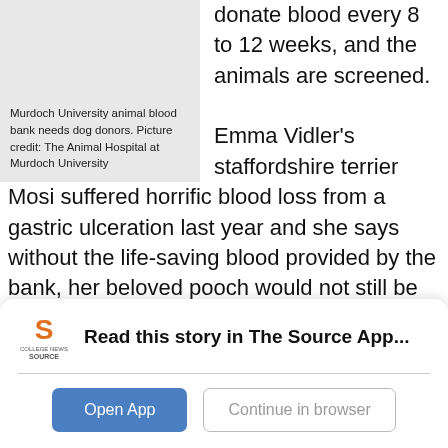Murdoch University animal blood bank needs dog donors. Picture credit: The Animal Hospital at Murdoch University
donate blood every 8 to 12 weeks, and the animals are screened.
Emma Vidler's staffordshire terrier Mosi suffered horrific blood loss from a gastric ulceration last year and she says without the life-saving blood provided by the bank, her beloved pooch would not still be here.
Read this story in The Source App...
Open App
Continue in browser